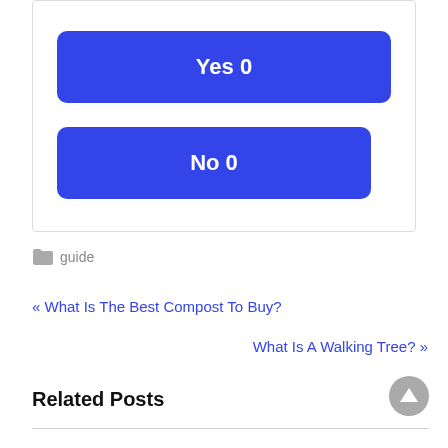[Figure (screenshot): Poll widget with two blue buttons: 'Yes 0' and 'No 0' inside a bordered box]
guide
« What Is The Best Compost To Buy?
What Is A Walking Tree? »
Related Posts